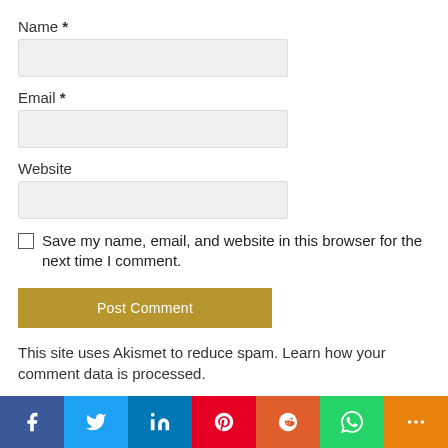Name *
Email *
Website
Save my name, email, and website in this browser for the next time I comment.
Post Comment
This site uses Akismet to reduce spam. Learn how your comment data is processed.
[Figure (infographic): Social sharing bar with icons for Facebook, Twitter, LinkedIn, Pinterest, Reddit, WhatsApp, and More]